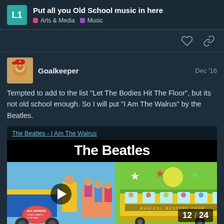Put all you Old School music in here | Arts & Media | Music
Tempted to add to the list "Let The Bodies Hit The Floor", but its not old school enough. So I will put "I Am The Walrus" by the Beatles.
[Figure (screenshot): YouTube embed showing 'The Beatles - I Am The Walrus' video with Sgt. Pepper album art thumbnail on left and Magical Mystery Tour bus on right, with play button and 12/24 counter]